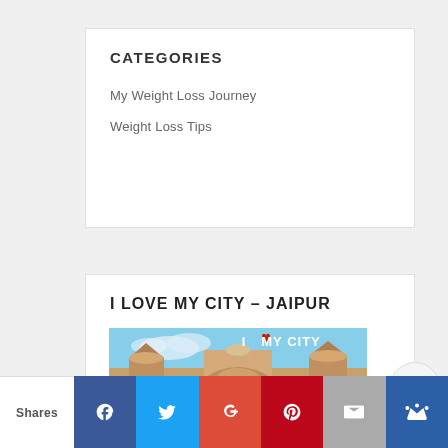CATEGORIES
My Weight Loss Journey
Weight Loss Tips
I LOVE MY CITY – JAIPUR
[Figure (photo): Photo of Jaipur fort/palace with 'I ♥ MY CITY' text overlay and 'JAIPUR' label at bottom right]
Shares | Facebook | Twitter | Google+ | Pinterest | Email | Crown